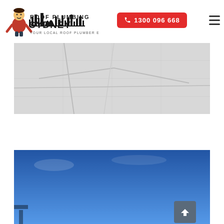[Figure (logo): Roof Plumbing Sydney logo with cartoon plumber character and Sydney skyline silhouette. Text reads 'ROOF PLUMBING SYDNEY — Your Local Roof Plumber Experts']
[Figure (other): Red phone button with phone icon and number 1300 096 668]
[Figure (other): Hamburger menu icon (three horizontal lines)]
[Figure (map): Grey map placeholder area]
[Figure (photo): Blue sky photograph, partially visible with what appears to be a roof fixture at bottom left]
[Figure (other): Back to top button with upward arrow chevron, dark grey rounded square]